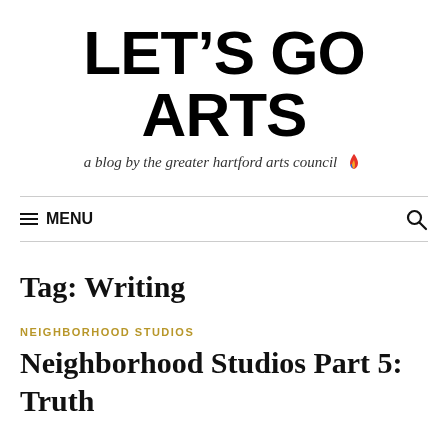LET'S GO ARTS
a blog by the greater hartford arts council 🔥
≡ MENU
Tag: Writing
NEIGHBORHOOD STUDIOS
Neighborhood Studios Part 5: Truth